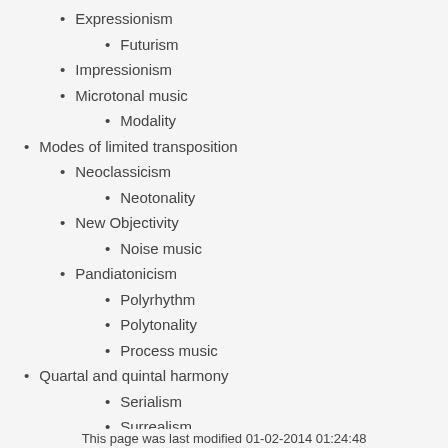Expressionism
Futurism
Impressionism
Microtonal music
Modality
Modes of limited transposition
Neoclassicism
Neotonality
New Objectivity
Noise music
Pandiatonicism
Polyrhythm
Polytonality
Process music
Quartal and quintal harmony
Serialism
Surrealism
Sound collage
Sound mass
Tone cluster
Tropes
Twelve-tone technique
This page was last modified 01-02-2014 01:24:48